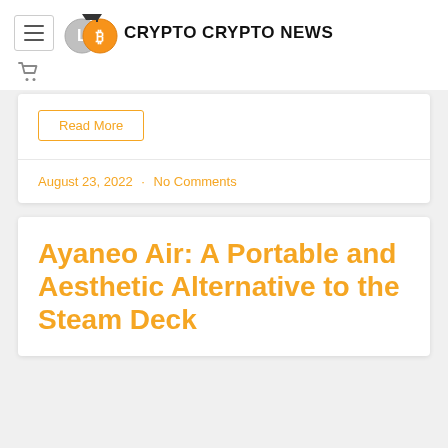CRYPTO CRYPTO NEWS
Read More
August 23, 2022 · No Comments
Ayaneo Air: A Portable and Aesthetic Alternative to the Steam Deck